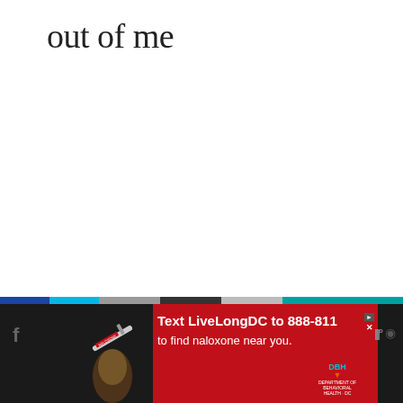out of me
[Figure (screenshot): Advertisement banner at bottom of page: red background with text 'Text LiveLongDC to 888-811 to find naloxone near you.' with DBH logo, and a photo of a hand holding a syringe/naloxone device. Below is a dark browser toolbar with navigation icons.]